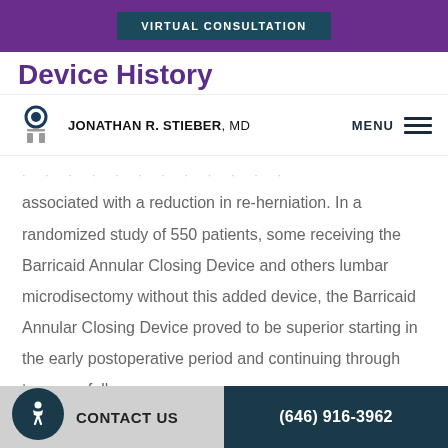VIRTUAL CONSULTATION
Device History
JONATHAN R. STIEBER, MD | MENU
associated with a reduction in re-herniation. In a randomized study of 550 patients, some receiving the Barricaid Annular Closing Device and others lumbar microdisectomy without this added device, the Barricaid Annular Closing Device proved to be superior starting in the early postoperative period and continuing through two-year follow up.
CONTACT US | (646) 916-3962